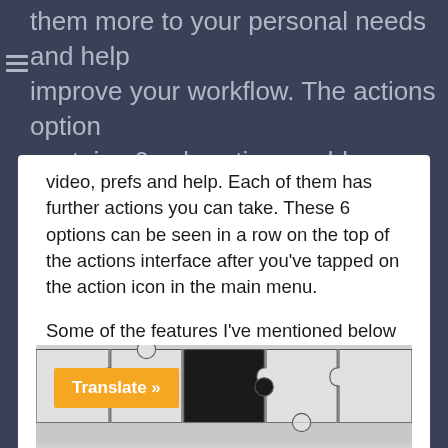them more to your personal needs and help improve your workflow. The actions option contains 6 sub-options: add, canvas, share, video, prefs and help. Each of them has further actions you can take. These 6 options can be seen in a row on the top of the actions interface after you've tapped on the action icon in the main menu.
Some of the features I've mentioned below may have been changed or disabled due to the recent update to Procreate 4.3. I will address them where applicable. For more updated features, read my post on new features in Procreate 4.3.
[Figure (photo): Puzzle pieces image showing white interlocking puzzle pieces with one black piece missing in the center]